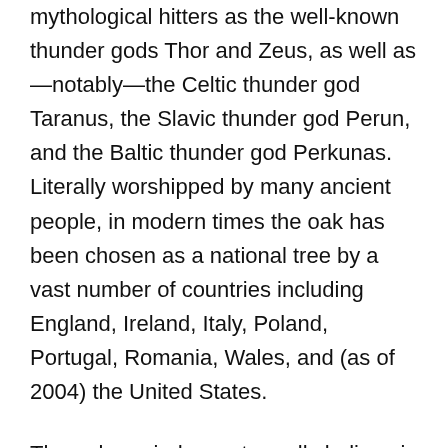mythological hitters as the well-known thunder gods Thor and Zeus, as well as—notably—the Celtic thunder god Taranus, the Slavic thunder god Perun, and the Baltic thunder god Perkunas. Literally worshipped by many ancient people, in modern times the oak has been chosen as a national tree by a vast number of countries including England, Ireland, Italy, Poland, Portugal, Romania, Wales, and (as of 2004) the United States.
The oak reminds you to really believe in and embody your magical power and manifestation abilities. What is it you truly desire? It's high time to get very clear on your intentions. And then to manifest them!
We are all familiar with the perennial symbol of manifestation: the tiny acorn becoming a vast oak